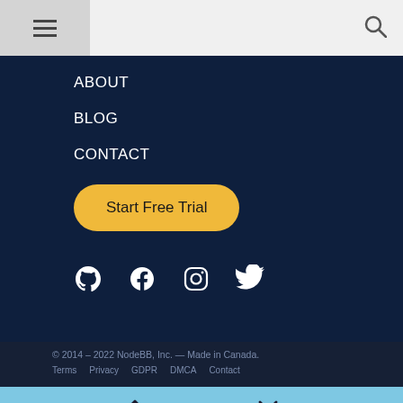[Figure (screenshot): Mobile navigation header bar with hamburger menu icon on left and search icon on right, gray background]
ABOUT
BLOG
CONTACT
Start Free Trial
[Figure (infographic): Social media icons: GitHub, Facebook, Instagram, Twitter in white on dark navy background]
© 2014 – 2022 NodeBB, Inc. — Made in Canada.
Terms   Privacy   GDPR   DMCA   Contact
63 out of 63